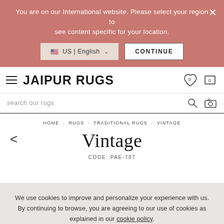You are on our International website. Please select your region to see content specific for your location.
US | English
CONTINUE
[Figure (logo): Jaipur Rugs logo with hamburger menu icon on left and wishlist/cart icons on right]
search our rugs
HOME · RUGS · TRADITIONAL RUGS · VINTAGE
Vintage
CODE: PAE-787
We use cookies to improve and personalize your experience with us. By continuing to browse, you are agreeing to our use of cookies as explained in our cookie policy.
I AGREE